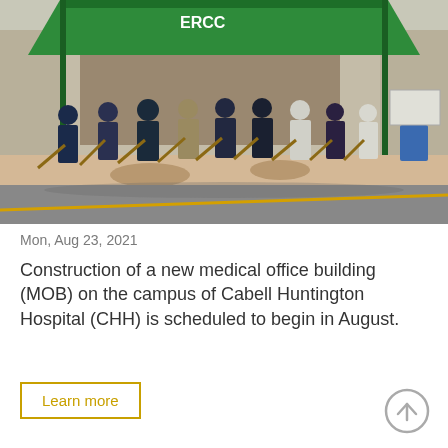[Figure (photo): Groundbreaking ceremony with a group of people in business attire and medical coats holding golden shovels, standing in front of a green tent canopy outside a hospital building.]
Mon, Aug 23, 2021
Construction of a new medical office building (MOB) on the campus of Cabell Huntington Hospital (CHH) is scheduled to begin in August.
Learn more